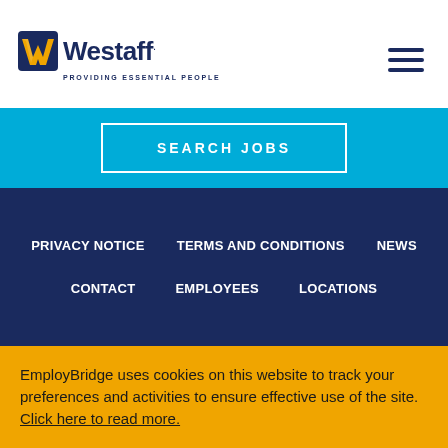[Figure (logo): Westaff logo with W icon and tagline PROVIDING ESSENTIAL PEOPLE]
[Figure (other): Hamburger menu icon (three horizontal lines)]
[Figure (other): SEARCH JOBS button on cyan background]
PRIVACY NOTICE   TERMS AND CONDITIONS   NEWS   CONTACT   EMPLOYEES   LOCATIONS
EmployBridge uses cookies on this website to track your preferences and activities to ensure effective use of the site. Click here to read more.